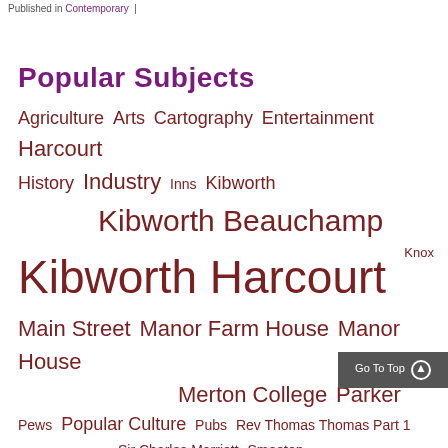Published in Contemporary |
Popular Subjects
Agriculture Arts Cartography Entertainment Harcourt History Industry Inns Kibworth Kibworth Beauchamp Knox Kibworth Harcourt Main Street Manor Farm House Manor House Merton College Parker Pews Popular Culture Pubs Rev Thomas Thomas Part 1 Sir Charles Marriott Smeeton Smeeton Westerby St Wilfrid's Church